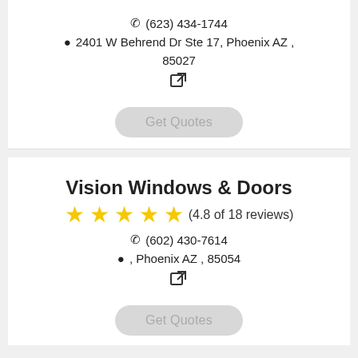(623) 434-1744
2401 W Behrend Dr Ste 17, Phoenix AZ, 85027
[Figure (illustration): External link icon]
Get Quotes
Vision Windows & Doors
★★★★★ (4.8 of 18 reviews)
(602) 430-7614
, Phoenix AZ , 85054
[Figure (illustration): External link icon]
Get Quotes